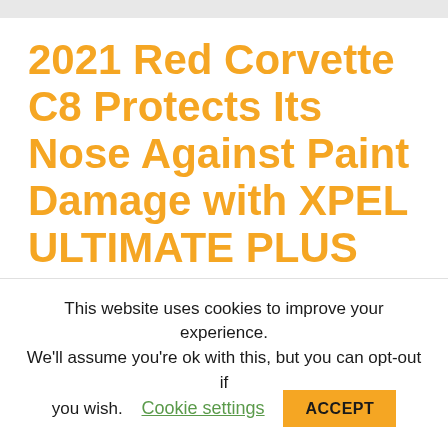2021 Red Corvette C8 Protects Its Nose Against Paint Damage with XPEL ULTIMATE PLUS PPF
October 25, 2021 by jgarcia
[Figure (other): Horizontal progress/loading bar with beige/tan segments and a small red gap in the middle]
This website uses cookies to improve your experience. We'll assume you're ok with this, but you can opt-out if you wish.
Cookie settings
ACCEPT